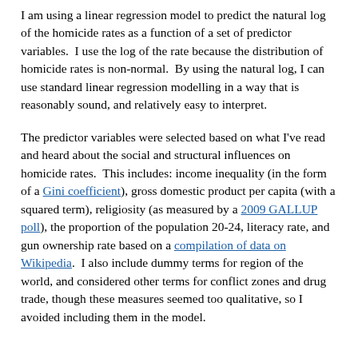I am using a linear regression model to predict the natural log of the homicide rates as a function of a set of predictor variables.  I use the log of the rate because the distribution of homicide rates is non-normal.  By using the natural log, I can use standard linear regression modelling in a way that is reasonably sound, and relatively easy to interpret.
The predictor variables were selected based on what I've read and heard about the social and structural influences on homicide rates.  This includes: income inequality (in the form of a Gini coefficient), gross domestic product per capita (with a squared term), religiosity (as measured by a 2009 GALLUP poll), the proportion of the population 20-24, literacy rate, and gun ownership rate based on a compilation of data on Wikipedia.  I also include dummy terms for region of the world, and considered other terms for conflict zones and drug trade, though these measures seemed too qualitative, so I avoided including them in the model.